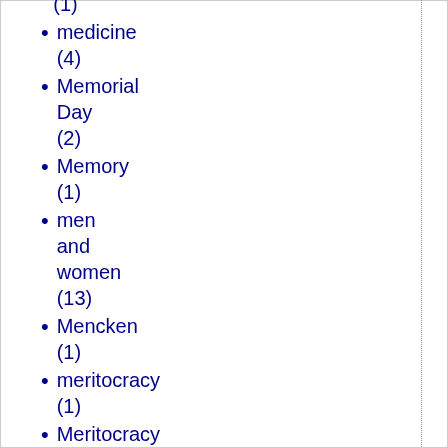(1)
medicine (4)
Memorial Day (2)
Memory (1)
men and women (13)
Mencken (1)
meritocracy (1)
Meritocracy (3)
metaphysics (2)
Mexican Consulate San Diego (1)